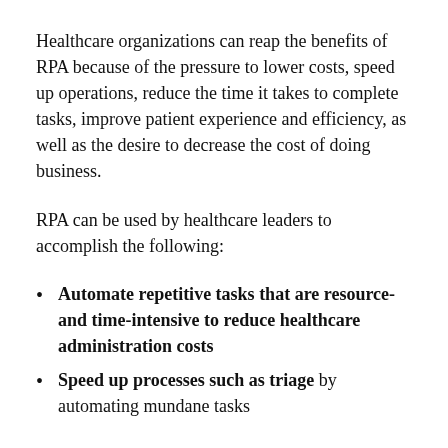Healthcare organizations can reap the benefits of RPA because of the pressure to lower costs, speed up operations, reduce the time it takes to complete tasks, improve patient experience and efficiency, as well as the desire to decrease the cost of doing business.
RPA can be used by healthcare leaders to accomplish the following:
Automate repetitive tasks that are resource- and time-intensive to reduce healthcare administration costs
Speed up processes such as triage by automating mundane tasks